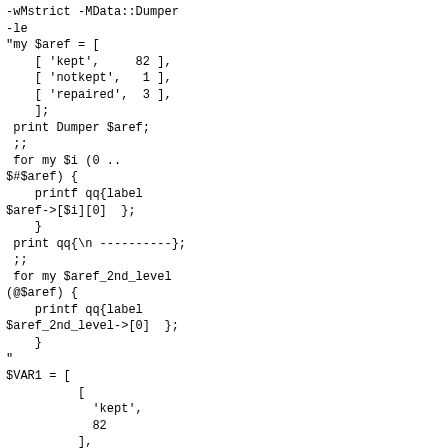Perl code block showing array manipulation with Data::Dumper, nested loops, and printf statements
The St. Larry Wall Shrine
Buy PerlMonks Gear
Offering Plate
Awards
Random Node
Quests
Craft
Snippets
Code Catacombs
Editor Requests
blogs.perl.org
Perlsphere
Perl Weekly
Perl.com
Perl Jobs
Perl Mongers
Perl Directory
Perl documentation
MetaCPAN
CPAN
Voting Booth
No recent polls found
Notices